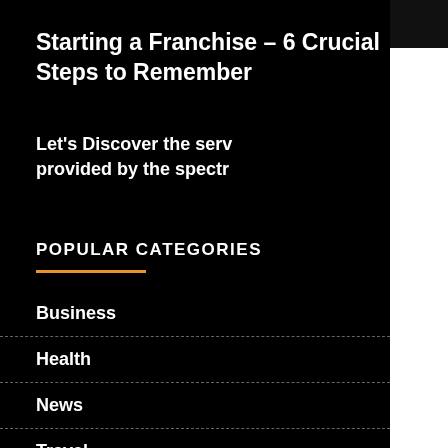Starting a Franchise – 6 Crucial Steps to Remember
Let's Discover the serv provided by the spectr
POPULAR CATEGORIES
Business
Health
News
Travel
[Figure (photo): Hands typing on a laptop keyboard]
companies
[Figure (photo): Woman with eyes closed having makeup applied with a brush]
stated here
[Figure (illustration): Niche market analysis illustration with bar chart and magnifying glass on blue background]
Niche Marke